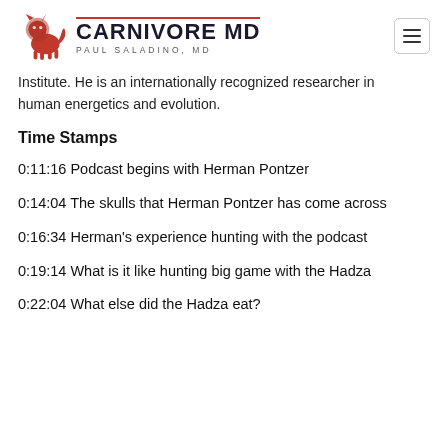CARNIVORE MD - Paul Saladino, MD
Institute. He is an internationally recognized researcher in human energetics and evolution.
Time Stamps
0:11:16 Podcast begins with Herman Pontzer
0:14:04 The skulls that Herman Pontzer has come across
0:16:34 Herman's experience hunting with the podcast
0:19:14 What is it like hunting big game with the Hadza
0:22:04 What else did the Hadza eat?